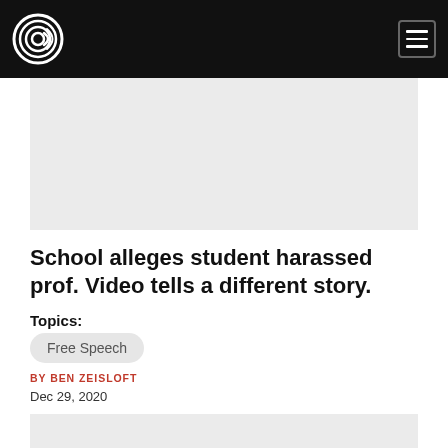[Figure (logo): Circular target/bullseye logo in white on black navbar background]
[Figure (other): Gray advertisement placeholder block at top]
School alleges student harassed prof. Video tells a different story.
Topics:
Free Speech
BY BEN ZEISLOFT
Dec 29, 2020
[Figure (other): Gray advertisement placeholder block at bottom]